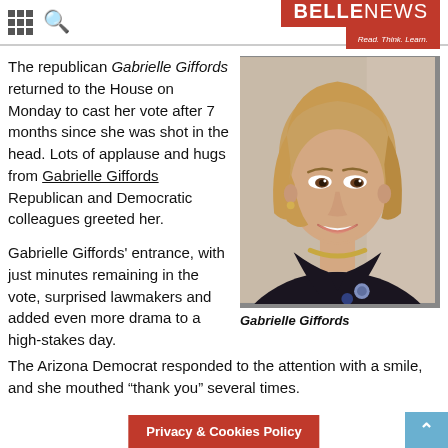BELLENEWS - Read. Think. Learn.
The republican Gabrielle Giffords returned to the House on Monday to cast her vote after 7 months since she was shot in the head. Lots of applause and hugs from Gabrielle Giffords Republican and Democratic colleagues greeted her.
[Figure (photo): Portrait photo of Gabrielle Giffords, a woman with blonde hair wearing a dark jacket and gold necklace, smiling warmly.]
Gabrielle Giffords
Gabrielle Giffords' entrance, with just minutes remaining in the vote, surprised lawmakers and added even more drama to a high-stakes day. The Arizona Democrat responded to the attention with a smile, and she mouthed “thank you” several times.